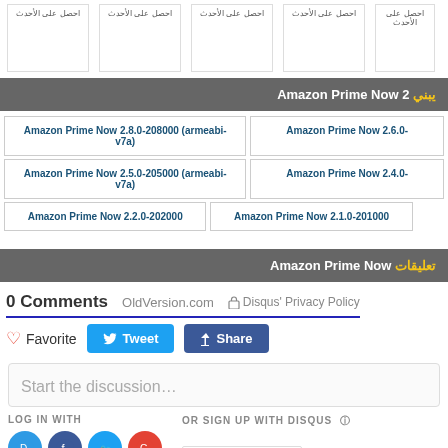[Figure (screenshot): Top row of app version cards with Arabic text labels]
يبني Amazon Prime Now 2
Amazon Prime Now 2.8.0-208000 (armeabi-v7a)
Amazon Prime Now 2.6.0-...
Amazon Prime Now 2.5.0-205000 (armeabi-v7a)
Amazon Prime Now 2.4.0-...
Amazon Prime Now 2.2.0-202000
Amazon Prime Now 2.1.0-201000
تعليقات Amazon Prime Now
0 Comments   OldVersion.com   🔒 Disqus' Privacy Policy
♡ Favorite   Tweet   Share
Start the discussion…
LOG IN WITH
OR SIGN UP WITH DISQUS ?
Name